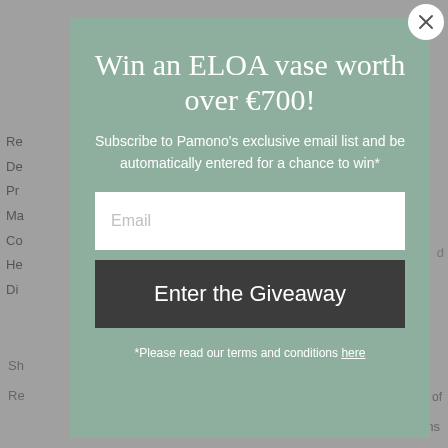[Figure (screenshot): A popup modal overlay on top of a dimmed e-commerce product page. The modal has a sage/muted green background and displays a giveaway promotion for an ELOA vase worth over €700. It contains a title, subtitle, email input field, and a call-to-action button.]
Win an ELOA vase worth over €700!
Subscribe to Pamono's exclusive email list and be automatically entered for a chance to win*
Email
Enter the Giveaway
*Please read our terms and conditions here